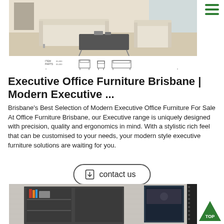[Figure (photo): Cream/beige modern office sofa set with coffee table, two chairs and a three-seater sofa in a bright office reception area]
[Figure (schematic): Small thumbnail line drawings showing furniture dimensions and elevation views]
Executive Office Furniture Brisbane | Modern Executive ...
Brisbane's Best Selection of Modern Executive Office Furniture For Sale At Office Furniture Brisbane, our Executive range is uniquely designed with precision, quality and ergonomics in mind. With a stylistic rich feel that can be customised to your needs, your modern style executive furniture solutions are waiting for you.
[Figure (other): Contact us button with download icon]
[Figure (photo): Dark executive office cabinet/bookcase unit with artwork panel in a modern office setting]